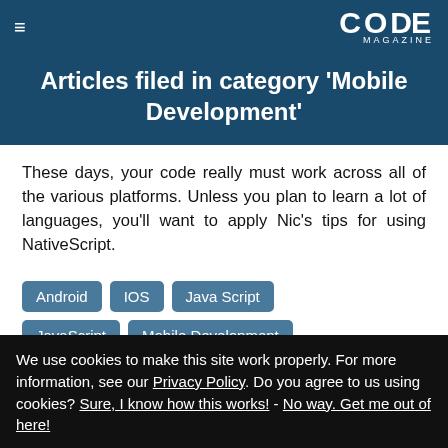CODE MAGAZINE
Articles filed in category 'Mobile Development'
These days, your code really must work across all of the various platforms. Unless you plan to learn a lot of languages, you'll want to apply Nic's tips for using NativeScript.
Android
IOS
Java Script
JavaScript
Mobile Development
NativeScript
We use cookies to make this site work properly. For more information, see our Privacy Policy. Do you agree to us using cookies? Sure, I know how this works! - No way. Get me out of here!